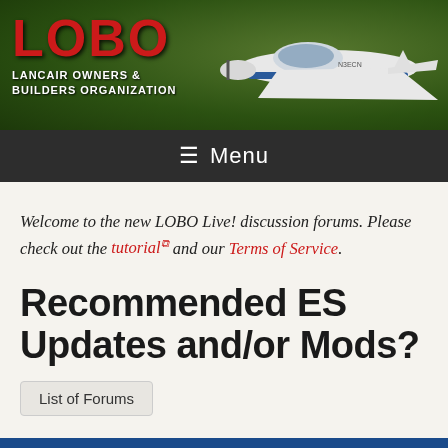[Figure (logo): LOBO - Lancair Owners & Builders Organization banner with airplane photo on green forest background]
☰ Menu
Welcome to the new LOBO Live! discussion forums. Please check out the tutorial and our Terms of Service.
Recommended ES Updates and/or Mods?
List of Forums